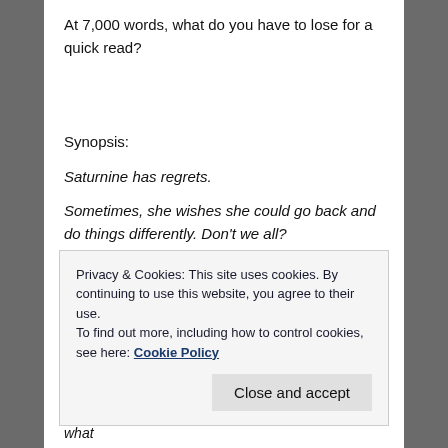At 7,000 words, what do you have to lose for a quick read?
Synopsis:
Saturnine has regrets.
Sometimes, she wishes she could go back and do things differently. Don't we all?
Privacy & Cookies: This site uses cookies. By continuing to use this website, you agree to their use.
To find out more, including how to control cookies, see here: Cookie Policy
chronological perception, she'll be able to figure out what